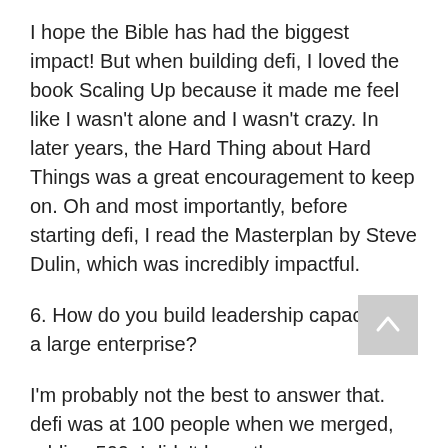I hope the Bible has had the biggest impact! But when building defi, I loved the book Scaling Up because it made me feel like I wasn't alone and I wasn't crazy. In later years, the Hard Thing about Hard Things was a great encouragement to keep on. Oh and most importantly, before starting defi, I read the Masterplan by Steve Dulin, which was incredibly impactful.
6. How do you build leadership capacity in a large enterprise?
I'm probably not the best to answer that. defi was at 100 people when we merged, adding 500. I didn't have the